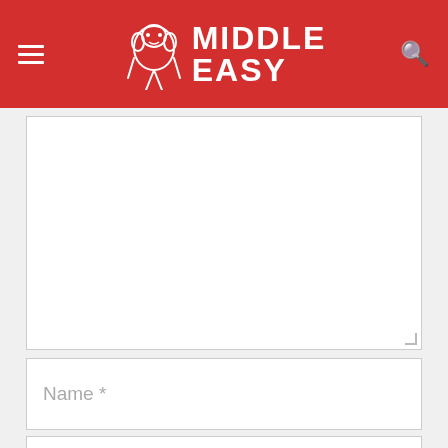MiddleEasy
Name *
Email *
Website
POST COMMENT
WHAT'S NEXT → Team Holyfield Says Mike...
$5 20oz Smoothies 'til 11am Smoothie King